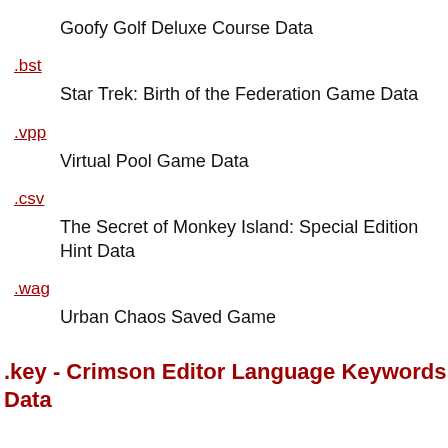Goofy Golf Deluxe Course Data
.bst
Star Trek: Birth of the Federation Game Data
.vpp
Virtual Pool Game Data
.csv
The Secret of Monkey Island: Special Edition Hint Data
.wag
Urban Chaos Saved Game
.key - Crimson Editor Language Keywords Data